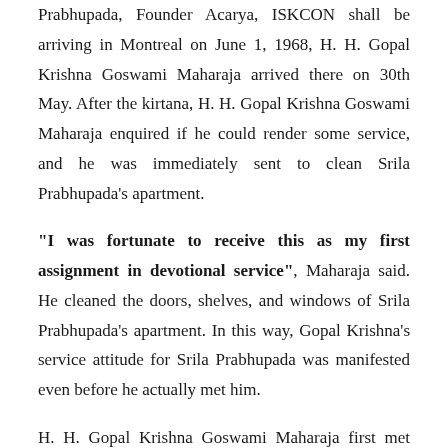Prabhupada, Founder Acarya, ISKCON shall be arriving in Montreal on June 1, 1968, H. H. Gopal Krishna Goswami Maharaja arrived there on 30th May. After the kirtana, H. H. Gopal Krishna Goswami Maharaja enquired if he could render some service, and he was immediately sent to clean Srila Prabhupada's apartment.
“I was fortunate to receive this as my first assignment in devotional service”, Maharaja said. He cleaned the doors, shelves, and windows of Srila Prabhupada’s apartment. In this way, Gopal Krishna’s service attitude for Srila Prabhupada was manifested even before he actually met him.
H. H. Gopal Krishna Goswami Maharaja first met Srila Prabhupada in the evening of June 1st, 1968. Within the